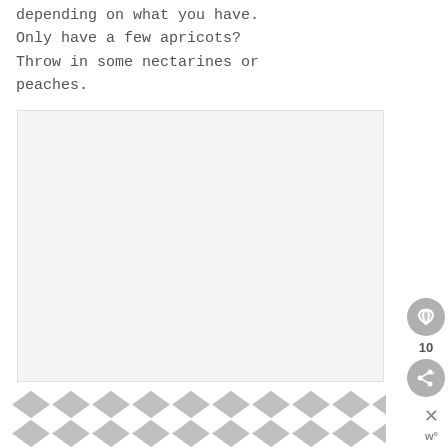depending on what you have. Only have a few apricots? Throw in some nectarines or peaches.
[Figure (photo): A light gray rectangular image placeholder area]
[Figure (infographic): A geometric chevron/diamond repeating pattern in gray and white at the bottom of the page]